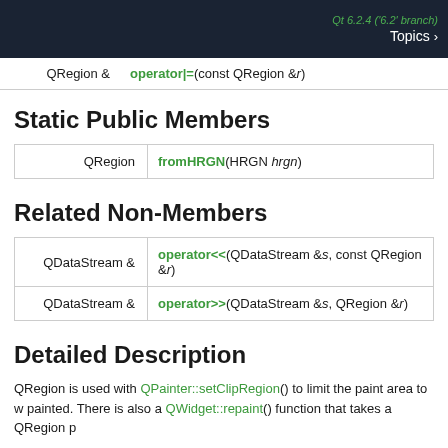Qt 6.2.4 ('6.2' branch) Topics >
|  |  |
| --- | --- |
| QRegion & | operator|=(const QRegion &r) |
Static Public Members
|  |  |
| --- | --- |
| QRegion | fromHRGN(HRGN hrgn) |
Related Non-Members
|  |  |
| --- | --- |
| QDataStream & | operator<<(QDataStream &s, const QRegion &r) |
| QDataStream & | operator>>(QDataStream &s, QRegion &r) |
Detailed Description
QRegion is used with QPainter::setClipRegion() to limit the paint area to w painted. There is also a QWidget::repaint() function that takes a QRegion p